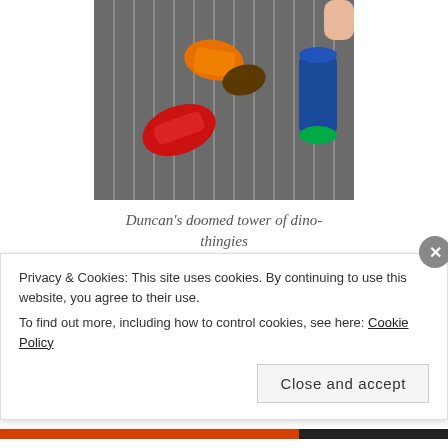[Figure (photo): Top-down photo of toy cars and dinosaurs (dino-thingies) arranged on a striped grey carpet, with a colorful sippy cup to the right. A child's hand is partially visible.]
Duncan's doomed tower of dino-thingies
His challenges add to our life-as-a-family-challenges. We need room in the van for his wheelchair at all times. When we go to his appointments there is rarely enough handicap
Privacy & Cookies: This site uses cookies. By continuing to use this website, you agree to their use.
To find out more, including how to control cookies, see here: Cookie Policy
Close and accept